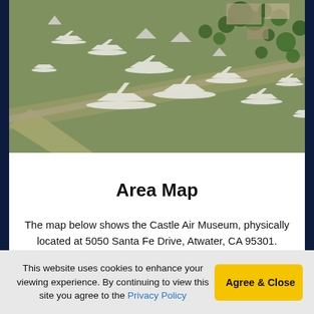[Figure (photo): Aerial photograph of Castle Air Museum showing numerous military aircraft displayed on the ground viewed from above, surrounded by green trees and grass areas]
Area Map
The map below shows the Castle Air Museum, physically located at 5050 Santa Fe Drive, Atwater, CA 95301. Phone 209.723.2178.
This website uses cookies to enhance your viewing experience. By continuing to view this site you agree to the Privacy Policy